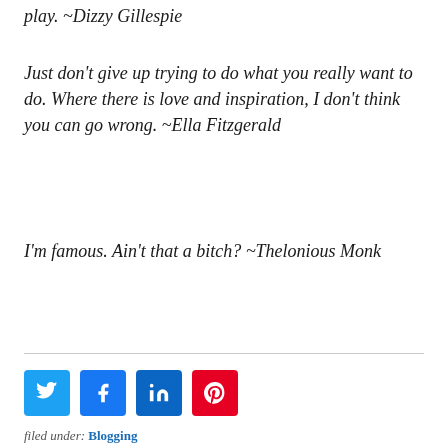play. ~Dizzy Gillespie
Just don’t give up trying to do what you really want to do. Where there is love and inspiration, I don’t think you can go wrong. ~Ella Fitzgerald
I’m famous. Ain’t that a bitch? ~Thelonious Monk
[Figure (other): Social share buttons: Twitter (blue bird), Facebook (blue f), LinkedIn (blue in), Pinterest (red p)]
filed under: Blogging